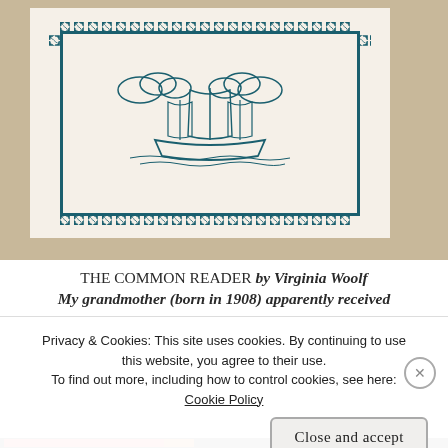[Figure (photo): Photograph of a printed card or bookplate featuring a sailing ship illustration surrounded by a decorative teal/dark green border with repeating ornamental patterns, placed on a beige/tan textured surface.]
THE COMMON READER by Virginia Woolf
My grandmother (born in 1908) apparently received
Privacy & Cookies: This site uses cookies. By continuing to use this website, you agree to their use.
To find out more, including how to control cookies, see here:
Cookie Policy
Close and accept